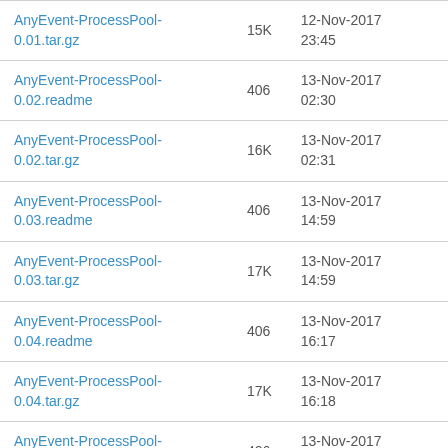| AnyEvent-ProcessPool-0.01.tar.gz | 15K | 12-Nov-2017 23:45 |
| AnyEvent-ProcessPool-0.02.readme | 406 | 13-Nov-2017 02:30 |
| AnyEvent-ProcessPool-0.02.tar.gz | 16K | 13-Nov-2017 02:31 |
| AnyEvent-ProcessPool-0.03.readme | 406 | 13-Nov-2017 14:59 |
| AnyEvent-ProcessPool-0.03.tar.gz | 17K | 13-Nov-2017 14:59 |
| AnyEvent-ProcessPool-0.04.readme | 406 | 13-Nov-2017 16:17 |
| AnyEvent-ProcessPool-0.04.tar.gz | 17K | 13-Nov-2017 16:18 |
| AnyEvent-ProcessPool-0.05.readme | 406 | 13-Nov-2017 21:28 |
| AnyEvent-ProcessPool-0.05.tar.gz | 18K | 13-Nov-2017 21:29 |